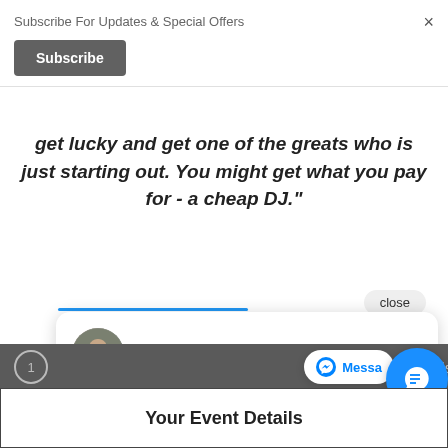Subscribe For Updates & Special Offers
Subscribe
get lucky and get one of the greats who is just starting out. You might get what you pay for - a cheap DJ."
close
Hi there, have a question? Text us here.
1  Event Details
Your Event Details